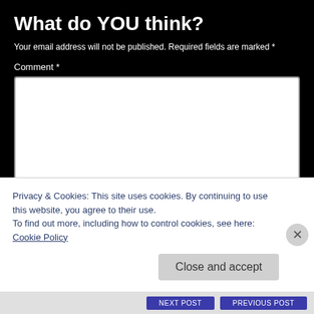What do YOU think?
Your email address will not be published. Required fields are marked *
Comment *
[Figure (screenshot): Empty textarea form field for comment input]
Name *
[Figure (screenshot): Text input field for name]
Privacy & Cookies: This site uses cookies. By continuing to use this website, you agree to their use.
To find out more, including how to control cookies, see here: Cookie Policy
Close and accept